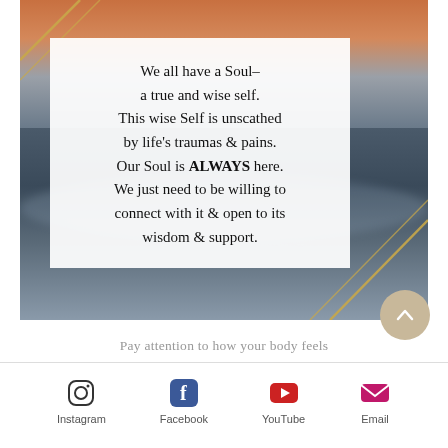[Figure (illustration): Background photo of ocean/water with sunset sky in orange and blue tones, with gold diagonal lines crossing the image. A white semi-transparent box overlays the center containing a quote about the Soul.]
We all have a Soul– a true and wise self. This wise Self is unscathed by life's traumas & pains. Our Soul is ALWAYS here. We just need to be willing to connect with it & open to its wisdom & support.
Pay attention to how your body feels
[Figure (infographic): Social media icons row: Instagram (camera icon), Facebook (f icon, blue), YouTube (play button, red), Email (envelope icon, pink/magenta)]